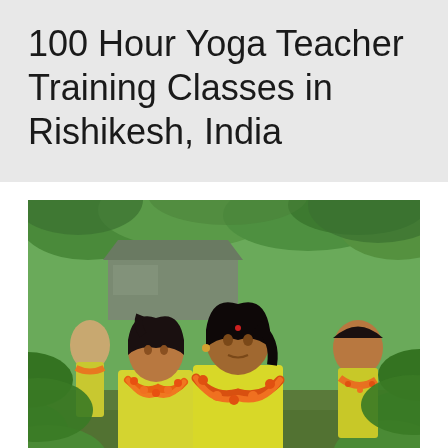100 Hour Yoga Teacher Training Classes in Rishikesh, India
[Figure (photo): Group of women wearing yellow t-shirts and orange marigold flower garlands walking outdoors in a lush green garden setting in Rishikesh, India. Two women are prominent in the foreground, with more participants visible behind them.]